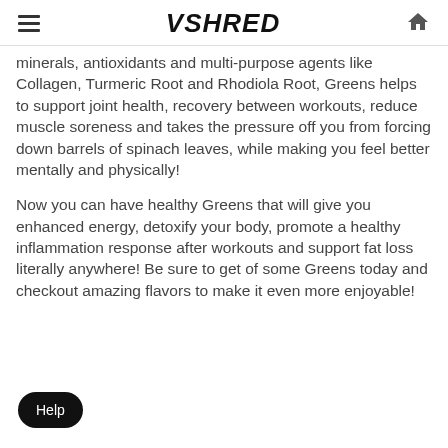VSHRED
minerals, antioxidants and multi-purpose agents like Collagen, Turmeric Root and Rhodiola Root, Greens helps to support joint health, recovery between workouts, reduce muscle soreness and takes the pressure off you from forcing down barrels of spinach leaves, while making you feel better mentally and physically!
Now you can have healthy Greens that will give you enhanced energy, detoxify your body, promote a healthy inflammation response after workouts and support fat loss literally anywhere! Be sure to get of some Greens today and checkout amazing flavors to make it even more enjoyable!